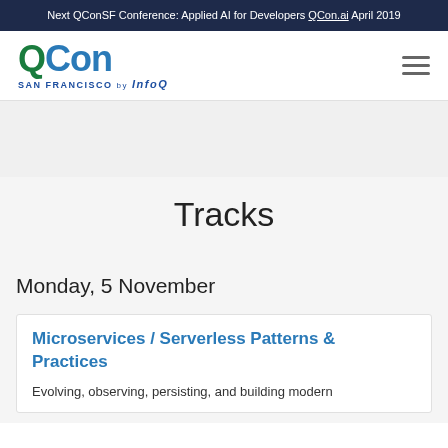Next QConSF Conference: Applied AI for Developers QCon.ai April 2019
[Figure (logo): QCon San Francisco by InfoQ logo with green QCon text and blue SAN FRANCISCO by InfoQ subtext]
Tracks
Monday, 5 November
Microservices / Serverless Patterns & Practices
Evolving, observing, persisting, and building modern